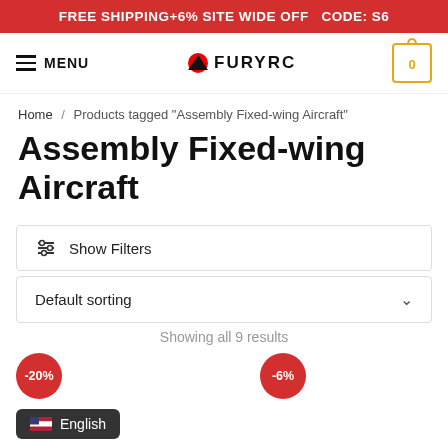FREE SHIPPING+6% SITE WIDE OFF  CODE: S6
[Figure (logo): FuryRC logo with hamburger menu and cart icon nav bar]
Home / Products tagged "Assembly Fixed-wing Aircraft"
Assembly Fixed-wing Aircraft
Show Filters
Default sorting
Showing all 9 results
-20%
-6%
English